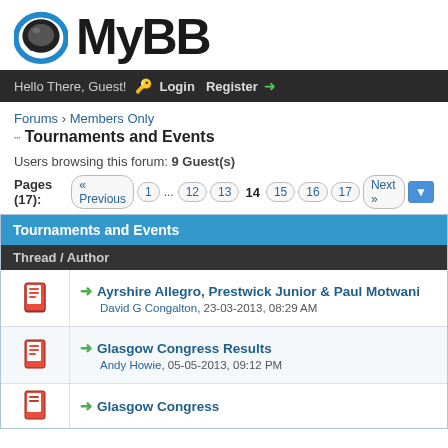[Figure (logo): MyBB forum software logo with blue/black chat bubble icon and 'MyBB' text]
Hello There, Guest! Login Register
Forums › Members Only
Tournaments and Events
Users browsing this forum: 9 Guest(s)
Pages (17): « Previous  1  ...  12  13  14  15  16  17  Next »
Tournaments and Events
Thread / Author
Ayrshire Allegro, Prestwick Junior & Paul Motwani — David G Congalton, 23-03-2013, 08:29 AM
Glasgow Congress Results — Andy Howie, 05-05-2013, 09:12 PM
Glasgow Congress